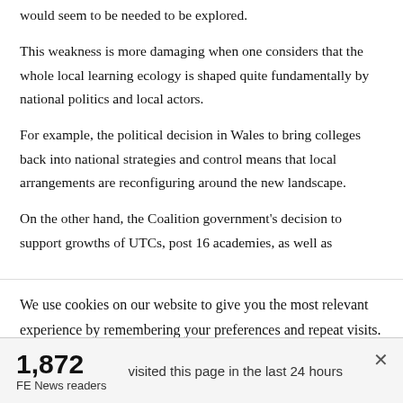would seem to be needed to be explored.
This weakness is more damaging when one considers that the whole local learning ecology is shaped quite fundamentally by national politics and local actors.
For example, the political decision in Wales to bring colleges back into national strategies and control means that local arrangements are reconfiguring around the new landscape.
On the other hand, the Coalition government's decision to support growths of UTCs, post 16 academies, as well as
We use cookies on our website to give you the most relevant experience by remembering your preferences and repeat visits. By clicking “Accept”, you consent to the use of ALL the cookies. However you may visit Cookie
1,872 visited this page in the last 24 hours
FE News readers